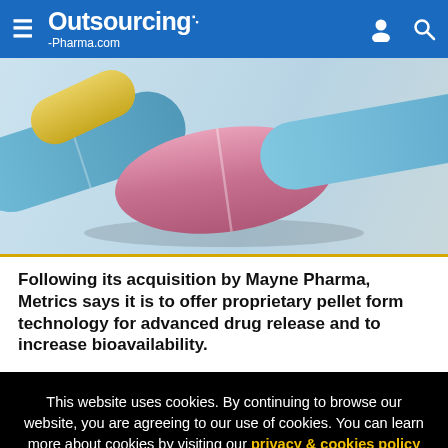Outsourcing-Pharma.com
[Figure (photo): Close-up photo of colorful pharmaceutical pills and capsules on a white surface, including blue, pink, and yellow tablets.]
Following its acquisition by Mayne Pharma, Metrics says it is to offer proprietary pellet form technology for advanced drug release and to increase bioavailability.
This website uses cookies. By continuing to browse our website, you are agreeing to our use of cookies. You can learn more about cookies by visiting our privacy & cookies policy page.
I Agree